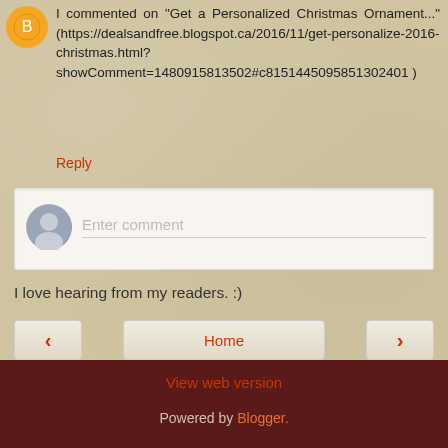I commented on "Get a Personalized Christmas Ornament..." (https://dealsandfree.blogspot.ca/2016/11/get-personalize-2016-christmas.html?showComment=1480915813502#c8151445095851302401 )
Reply
Enter comment
I love hearing from my readers. :)
< Home >
View web version
Powered by Blogger.